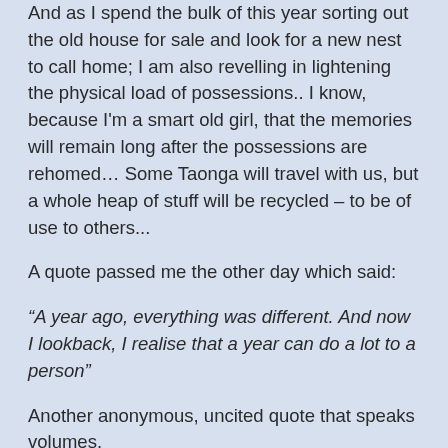And as I spend the bulk of this year sorting out the old house for sale and look for a new nest to call home; I am also revelling in lightening the physical load of possessions.. I know, because I'm a smart old girl, that the memories will remain long after the possessions are rehomed… Some Taonga will travel with us, but a whole heap of stuff will be recycled – to be of use to others...
A quote passed me the other day which said:
“A year ago, everything was different. And now I lookback, I realise that a year can do a lot to a person”
Another anonymous, uncited quote that speaks volumes.